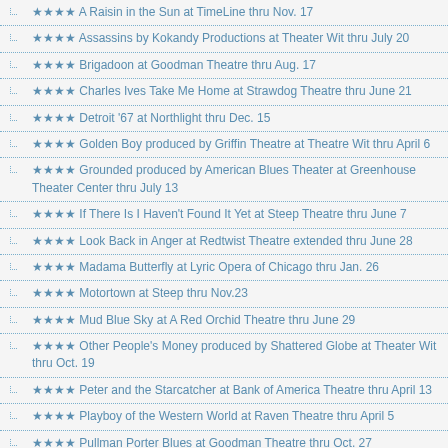★★★★ A Raisin in the Sun at TimeLine thru Nov. 17
★★★★ Assassins by Kokandy Productions at Theater Wit thru July 20
★★★★ Brigadoon at Goodman Theatre thru Aug. 17
★★★★ Charles Ives Take Me Home at Strawdog Theatre thru June 21
★★★★ Detroit '67 at Northlight thru Dec. 15
★★★★ Golden Boy produced by Griffin Theatre at Theatre Wit thru April 6
★★★★ Grounded produced by American Blues Theater at Greenhouse Theater Center thru July 13
★★★★ If There Is I Haven't Found It Yet at Steep Theatre thru June 7
★★★★ Look Back in Anger at Redtwist Theatre extended thru June 28
★★★★ Madama Butterfly at Lyric Opera of Chicago thru Jan. 26
★★★★ Motortown at Steep thru Nov.23
★★★★ Mud Blue Sky at A Red Orchid Theatre thru June 29
★★★★ Other People's Money produced by Shattered Globe at Theater Wit thru Oct. 19
★★★★ Peter and the Starcatcher at Bank of America Theatre thru April 13
★★★★ Playboy of the Western World at Raven Theatre thru April 5
★★★★ Pullman Porter Blues at Goodman Theatre thru Oct. 27
★★★★ Romeo and Juliet at American Players Theatre thru Oct. 4
★★★★ Russian Transport at Steppenwolf Theatre thru May 11
★★★★ The Importance of Being Earnest at American Players Theatre thru